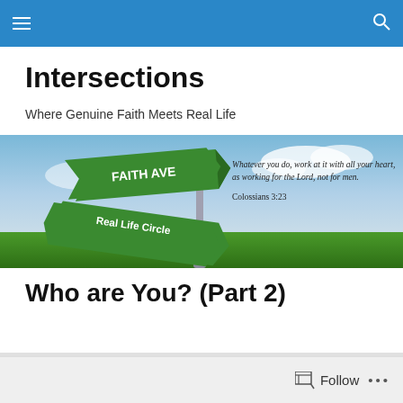Navigation bar with menu and search icons
Intersections
Where Genuine Faith Meets Real Life
[Figure (photo): Street sign intersection photo showing two green signs: 'FAITH AVE' and 'Real Life Circle' against a blue sky with green field, with Bible verse overlay: 'Whatever you do, work at it with all your heart, as working for the Lord, not for men. Colossians 3:23']
Who are You? (Part 2)
Follow ...